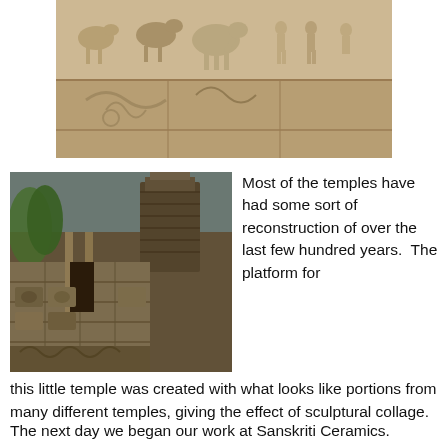[Figure (photo): Stone frieze with carved animal sculptures including horses, elephants, and human figures in relief, from a Hindu temple]
[Figure (photo): Close-up of a small Hindu temple structure showing stone blocks assembled from various sources, with carved decorations and columns visible, appearing as a sculptural collage]
Most of the temples have had some sort of reconstruction of over the last few hundred years.  The platform for this little temple was created with what looks like portions from many different temples, giving the effect of sculptural collage.
The next day we began our work at Sanskriti Ceramics.